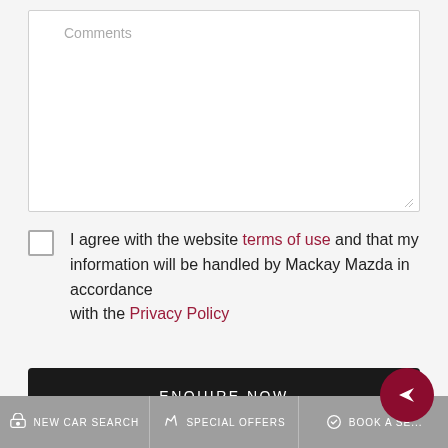Comments
I agree with the website terms of use and that my information will be handled by Mackay Mazda in accordance with the Privacy Policy
ENQUIRE NOW
NEW CAR SEARCH   SPECIAL OFFERS   BOOK A SE...